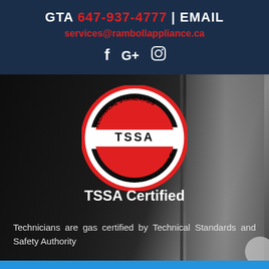GTA 647-937-4777 | EMAIL services@rambollappliance.ca
[Figure (logo): Social media icons: Facebook (f), Google+ (G+), Instagram (camera icon)]
[Figure (logo): TSSA - Technical Standards & Safety Authority circular logo with red and black design]
TSSA Certified
Technicians are gas certified by Technical Standards and Safety Authority
Click Here To Call Us